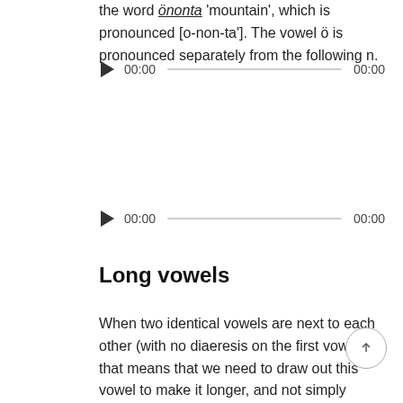the word önonta 'mountain', which is pronounced [o-non-ta']. The vowel ö is pronounced separately from the following n.
[Figure (other): Audio player with play button, current time 00:00, progress bar, and end time 00:00]
[Figure (other): Audio player with play button, current time 00:00, progress bar, and end time 00:00]
Long vowels
When two identical vowels are next to each other (with no diaeresis on the first vowel), that means that we need to draw out this vowel to make it longer, and not simply